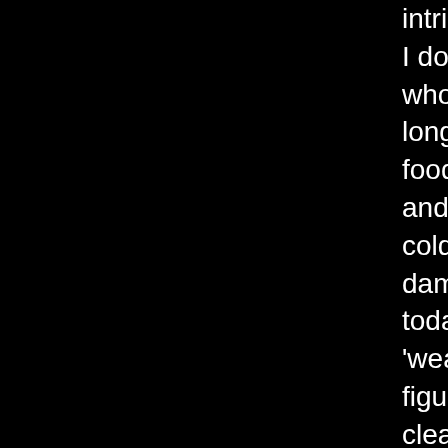intricacies of food. But I do hail from stock who worked hard and long, and knew what foods would sustain and warm in spite of a cold stone floor or damp ship.  Seeing as today is the day for 'wearing of the green' I figured i would come clean about my Irish past and pass on a recipe I feel is more in keeping with the enjoyment of the day, rather than the making yourself sick from drinking part of the holiday that gives Ireland a